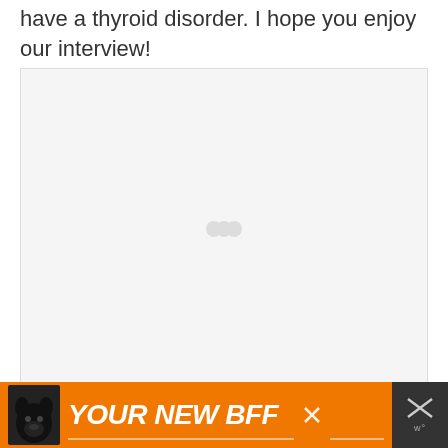have a thyroid disorder. I hope you enjoy our interview!
[Figure (other): Embedded video player placeholder with light gray background and faint play controls visible in center]
[Figure (other): Advertisement banner: orange background with a black dog image on left and text 'YOUR NEW BFF' in bold white italic letters with underline. Close button (X) visible. Right side dark panel with X close icon and W degree symbol.]